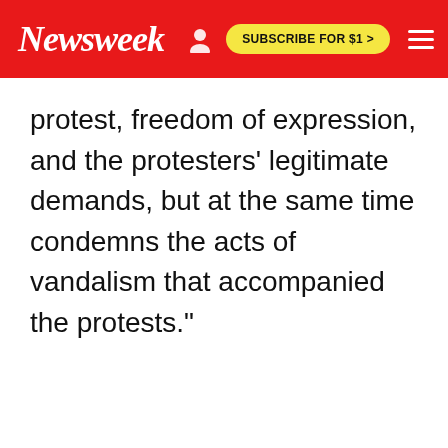Newsweek  SUBSCRIBE FOR $1 >
protest, freedom of expression, and the protesters' legitimate demands, but at the same time condemns the acts of vandalism that accompanied the protests."